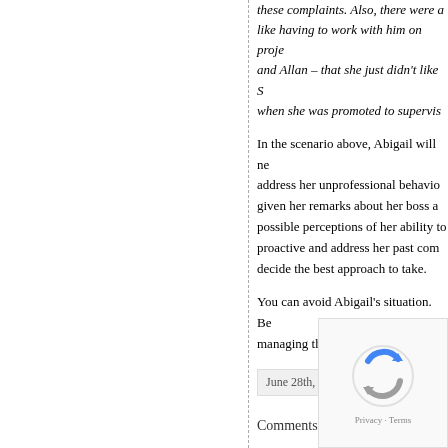these complaints. Also, there were a like having to work with him on proje and Allan – that she just didn't like S when she was promoted to supervis
In the scenario above, Abigail will ne address her unprofessional behavio given her remarks about her boss a possible perceptions of her ability to proactive and address her past com decide the best approach to take.
You can avoid Abigail's situation. Be managing those individuals with wh
June 28th, 2017 | Tags: Management
Comments are closed.
The opinions expressed in this b postings should be